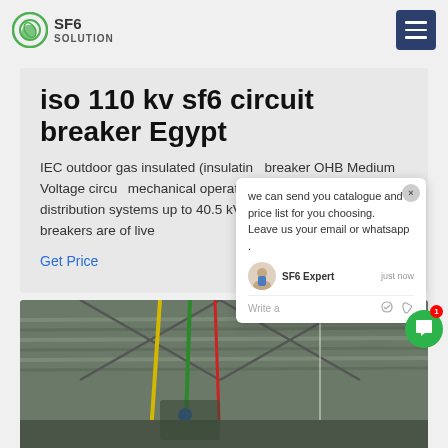SF6 SOLUTION
iso 110 kv sf6 circuit breaker Egypt
IEC outdoor gas insulated (insulating) breaker OHB Medium Voltage circuit mechanical operating mechanism d distribution systems up to 40.5 kV. 2 kA. These circuit breakers are of live tu
Get Price
[Figure (screenshot): Chat popup overlay showing message: 'we can send you catalogue and price list for you choosing. Leave us your email or whatsapp .' with SF6 Expert agent avatar and 'just now' timestamp, Write a input field with like and attachment icons]
[Figure (photo): Industrial warehouse interior showing ceiling with hanging cables/wires including colorful cables (yellow, green, blue), metal roof trusses and equipment visible below.]